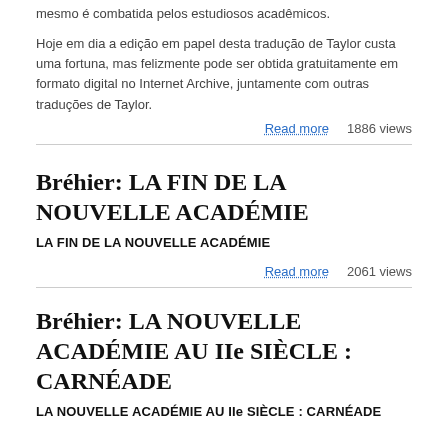mesmo é combatida pelos estudiosos acadêmicos.
Hoje em dia a edição em papel desta tradução de Taylor custa uma fortuna, mas felizmente pode ser obtida gratuitamente em formato digital no Internet Archive, juntamente com outras traduções de Taylor.
Read more   1886 views
Bréhier: LA FIN DE LA NOUVELLE ACADÉMIE
LA FIN DE LA NOUVELLE ACADÉMIE
Read more   2061 views
Bréhier: LA NOUVELLE ACADÉMIE AU IIe SIÈCLE : CARNÉADE
LA NOUVELLE ACADÉMIE AU IIe SIÈCLE : CARNÉADE